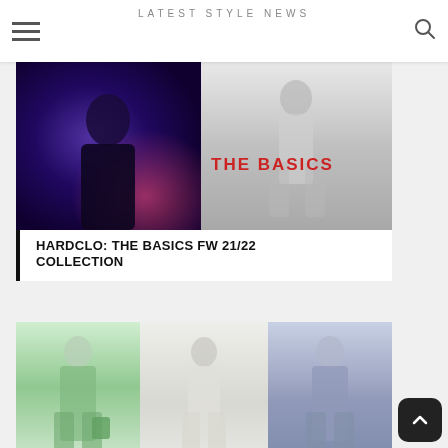LATEST STYLE NEWS
[Figure (photo): Fashion editorial photo split into two panels: left panel shows a male model in moody blue-purple light wearing dark clothing; right panel shows a black-and-white image of a model in a flowing dress with text 'THE BASICS' in red]
HARDCLO: THE BASICS FW 21/22 COLLECTION
[Figure (photo): Three fashion runway photos side by side: left shows model in mint green suit carrying green bag, center shows model in white outfit in minimalist corridor, right shows model in blue-grey suit outdoors near trees]
MILAN FASHION WEEK / SS21